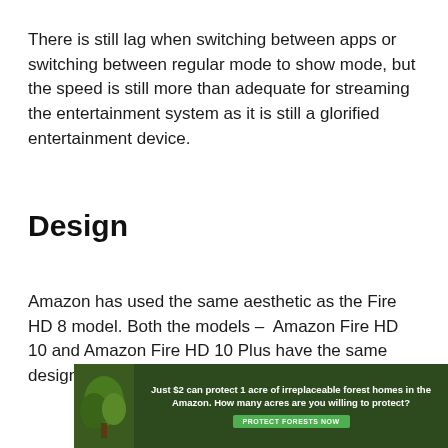There is still lag when switching between apps or switching between regular mode to show mode, but the speed is still more than adequate for streaming the entertainment system as it is still a glorified entertainment device.
Design
Amazon has used the same aesthetic as the Fire HD 8 model. Both the models – Amazon Fire HD 10 and Amazon Fire HD 10 Plus have the same design.
[Figure (infographic): Green forest-themed advertisement banner. Text reads: 'Just $2 can protect 1 acre of irreplaceable forest homes in the Amazon. How many acres are you willing to protect?' with a green 'PROTECT FORESTS NOW' button.]